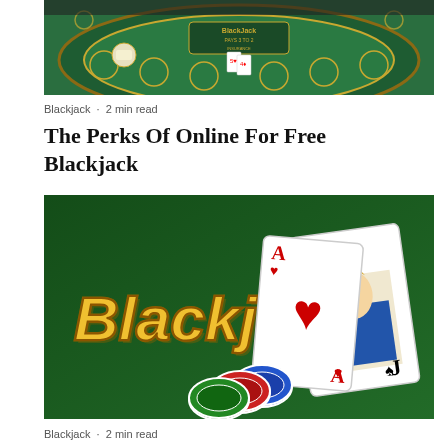[Figure (photo): Aerial view of a blackjack casino table with green felt, betting circles, cards, and casino signage showing 'Blackjack' and 'Insurance']
Blackjack · 2 min read
The Perks Of Online For Free Blackjack
[Figure (photo): Blackjack game promotional image with golden 'Blackjack' text on green background, showing playing cards (Ace of hearts, Jack of spades) and colorful poker chips]
Blackjack · 2 min read